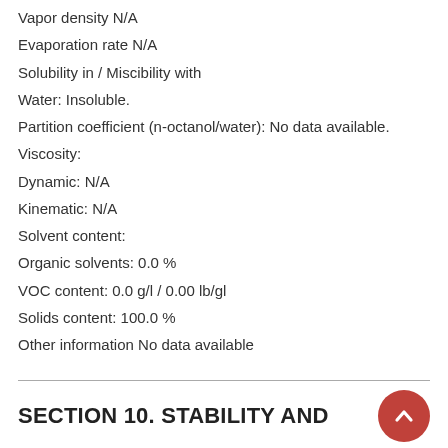Vapor density N/A
Evaporation rate N/A
Solubility in / Miscibility with
Water: Insoluble.
Partition coefficient (n-octanol/water): No data available.
Viscosity:
Dynamic: N/A
Kinematic: N/A
Solvent content:
Organic solvents: 0.0 %
VOC content: 0.0 g/l / 0.00 lb/gl
Solids content: 100.0 %
Other information No data available
SECTION 10. STABILITY AND